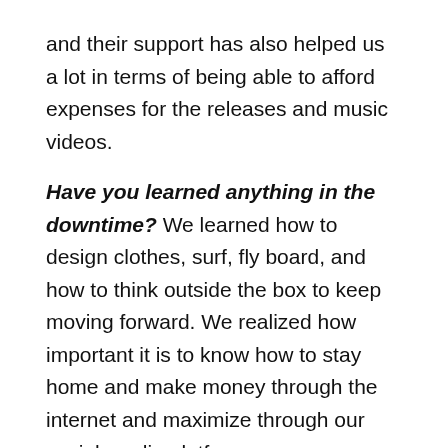and their support has also helped us a lot in terms of being able to afford expenses for the releases and music videos.
Have you learned anything in the downtime? We learned how to design clothes, surf, fly board, and how to think outside the box to keep moving forward. We realized how important it is to know how to stay home and make money through the internet and maximize through our social-media platforms.
What are you doing now that’s ultimately constructive to your music life/career? We have been creating more than ever this year – two